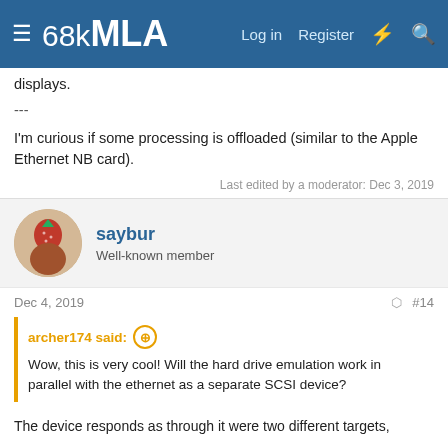68kMLA — Log in Register
displays.
---
I'm curious if some processing is offloaded (similar to the Apple Ethernet NB card).
Last edited by a moderator: Dec 3, 2019
saybur
Well-known member
Dec 4, 2019
#14
archer174 said: ↑
Wow, this is very cool! Will the hard drive emulation work in parallel with the ethernet as a separate SCSI device?
The device responds as through it were two different targets,